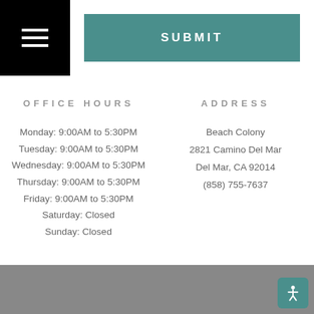SUBMIT
OFFICE HOURS
Monday: 9:00AM to 5:30PM
Tuesday: 9:00AM to 5:30PM
Wednesday: 9:00AM to 5:30PM
Thursday: 9:00AM to 5:30PM
Friday: 9:00AM to 5:30PM
Saturday: Closed
Sunday: Closed
ADDRESS
Beach Colony
2821 Camino Del Mar
Del Mar, CA 92014
(858) 755-7637